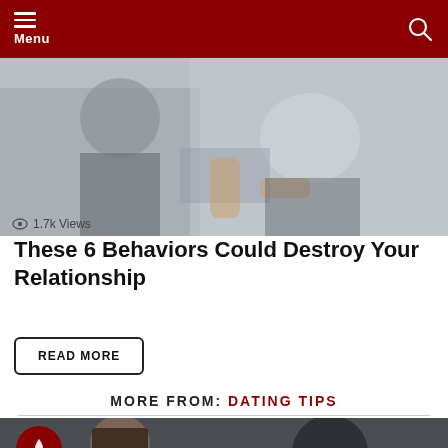Menu
[Figure (photo): Two people in a tense moment, one reaching toward the other, relationship conflict scene]
1.7k Views
These 6 Behaviors Could Destroy Your Relationship
READ MORE
MORE FROM: DATING TIPS
[Figure (photo): Woman looking away while man in background holds a smartphone, distance/jealousy scene]